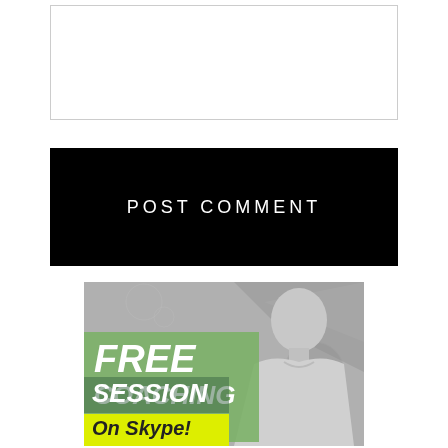[Figure (other): Empty white input/text area box with a light gray border]
POST COMMENT
[Figure (illustration): Promotional image for a free coaching session on Skype. Black and white photo of a bald man. Text overlay reads: FREE COACHING SESSION On Skype! Text on colored backgrounds (green and yellow).]